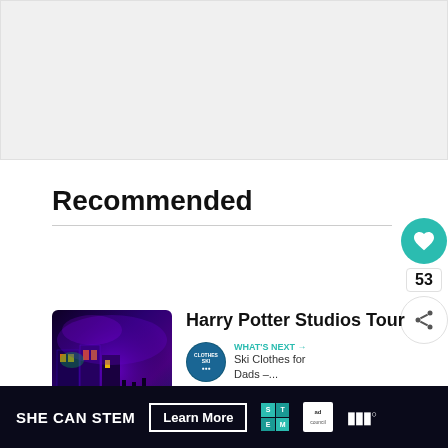[Figure (other): Light grey placeholder/ad area at top of page]
Recommended
[Figure (photo): Harry Potter Studios Tour thumbnail showing Diagon Alley with purple and orange lighting]
Harry Potter Studios Tour
WHAT'S NEXT → Ski Clothes for Dads –...
Read More →
[Figure (infographic): SHE CAN STEM advertisement banner with Learn More button, STEM logo, Ad Council logo, and WM logo]